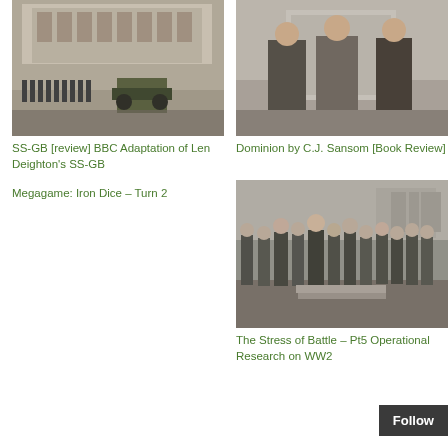[Figure (photo): Black and white photo of a military parade or march in front of a grand building, with soldiers and a military vehicle visible]
[Figure (photo): Black and white photo of three men in suits standing together, possibly a diplomatic or political meeting]
SS-GB [review] BBC Adaptation of Len Deighton's SS-GB
Dominion by C.J. Sansom [Book Review]
Megagame: Iron Dice – Turn 2
[Figure (photo): Black and white photo of a group of soldiers or military personnel gathered together outdoors]
The Stress of Battle – Pt5 Operational Research on WW2